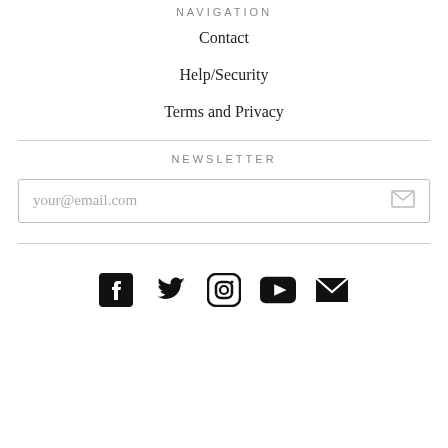NAVIGATION
Contact
Help/Security
Terms and Privacy
NEWSLETTER
your@email.com
[Figure (infographic): Social media icons: Facebook, Twitter, Instagram, YouTube, Email]